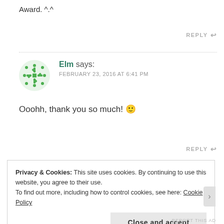Award. ^.^
REPLY ↩
Elm says: FEBRUARY 23, 2016 AT 6:41 PM
Ooohh, thank you so much! 🙂
REPLY ↩
Privacy & Cookies: This site uses cookies. By continuing to use this website, you agree to their use.
To find out more, including how to control cookies, see here: Cookie Policy
Close and accept